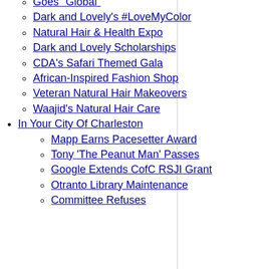Goes "Global"
Dark and Lovely's #LoveMyColor
Natural Hair & Health Expo
Dark and Lovely Scholarships
CDA's Safari Themed Gala
African-Inspired Fashion Shop
Veteran Natural Hair Makeovers
Waajid's Natural Hair Care
In Your City Of Charleston
Mapp Earns Pacesetter Award
Tony 'The Peanut Man' Passes
Google Extends CofC RSJI Grant
Otranto Library Maintenance
Committee Refuses